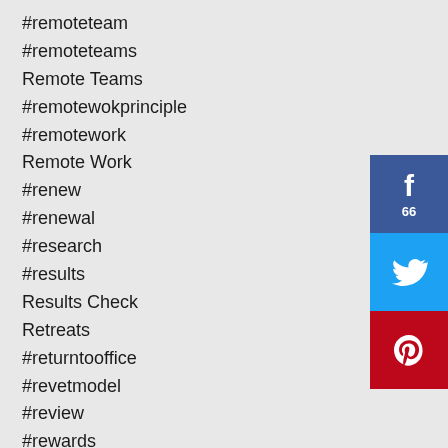#remoteteam
#remoteteams
Remote Teams
#remotewokprinciple
#remotework
Remote Work
#renew
#renewal
#research
#results
Results Check
Retreats
#returntooffice
#revetmodel
#review
#rewards
#rhythms
Roles
#routines
[Figure (infographic): Facebook share button with count 66, Twitter share button, Pinterest share button arranged vertically]